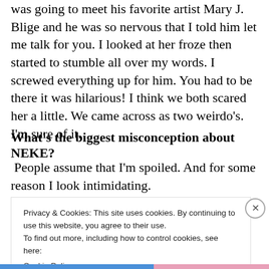was going to meet his favorite artist Mary J. Blige and he was so nervous that I told him let me talk for you. I looked at her froze then started to stumble all over my words. I screwed everything up for him. You had to be there it was hilarious!  I think we both scared her a little. We came across as two weirdo's. I'm sure of it.
What's the biggest misconception about NEKE?
People assume that I'm spoiled.  And for some reason I look intimidating.
Privacy & Cookies: This site uses cookies. By continuing to use this website, you agree to their use.
To find out more, including how to control cookies, see here:
Cookie Policy
Close and accept